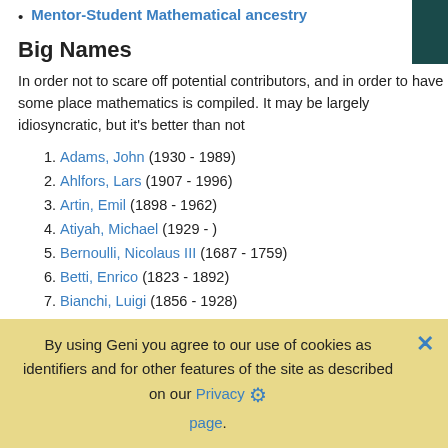Mentor-Student Mathematical ancestry
Big Names
In order not to scare off potential contributors, and in order to have some place mathematics is compiled. It may be largely idiosyncratic, but it's better than not
Adams, John (1930 - 1989)
Ahlfors, Lars (1907 - 1996)
Artin, Emil (1898 - 1962)
Atiyah, Michael (1929 - )
Bernoulli, Nicolaus III (1687 - 1759)
Betti, Enrico (1823 - 1892)
Bianchi, Luigi (1856 - 1928)
Birkhoff, George (1884 - 1944)
Borel, Armand (1923 - 2003)
Borel, Emile (1871 - 1956)
Bott, Raoul (1923 - 2005)
By using Geni you agree to our use of cookies as identifiers and for other features of the site as described on our Privacy page.